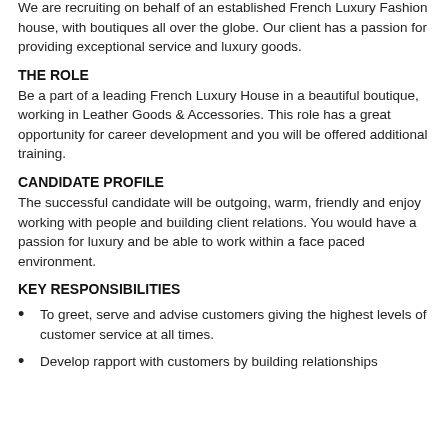We are recruiting on behalf of an established French Luxury Fashion house, with boutiques all over the globe. Our client has a passion for providing exceptional service and luxury goods.
THE ROLE
Be a part of a leading French Luxury House in a beautiful boutique, working in Leather Goods & Accessories. This role has a great opportunity for career development and you will be offered additional training.
CANDIDATE PROFILE
The successful candidate will be outgoing, warm, friendly and enjoy working with people and building client relations. You would have a passion for luxury and be able to work within a face paced environment.
KEY RESPONSIBILITIES
To greet, serve and advise customers giving the highest levels of customer service at all times.
Develop rapport with customers by building relationships